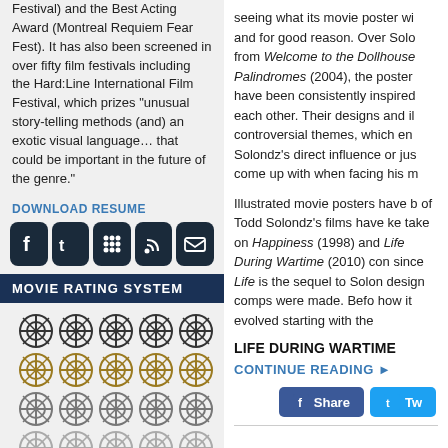Festival) and the Best Acting Award (Montreal Requiem Fear Fest). It has also been screened in over fifty film festivals including the Hard:Line International Film Festival, which prizes "unusual story-telling methods (and) an exotic visual language… that could be important in the future of the genre."
DOWNLOAD RESUME
[Figure (other): Social media icons: Facebook, Twitter, BlackBerry Messenger, RSS, Email]
MOVIE RATING SYSTEM
[Figure (other): Movie rating system using film reel icons in a 5x5 grid with varying colors (dark, gold, light, faded, red)]
[Figure (other): Font size selector showing A in small, medium, large sizes in gray, and A in small, medium, large sizes in dark blue]
LATEST ARTICLES
SOCKET (2016) – The Newly Restored Version
seeing what its movie poster wi and for good reason. Over Solo from Welcome to the Dollhouse Palindromes (2004), the poster have been consistently inspired each other. Their designs and il controversial themes, which en Solondz's direct influence or jus come up with when facing his m
Illustrated movie posters have b of Todd Solondz's films have ke take on Happiness (1998) and Life During Wartime (2010) con since Life is the sequel to Solon design comps were made. Befo how it evolved starting with the
LIFE DURING WARTIME
CONTINUE READING ►
[Figure (other): Share buttons: Facebook Share and Twitter Tweet]